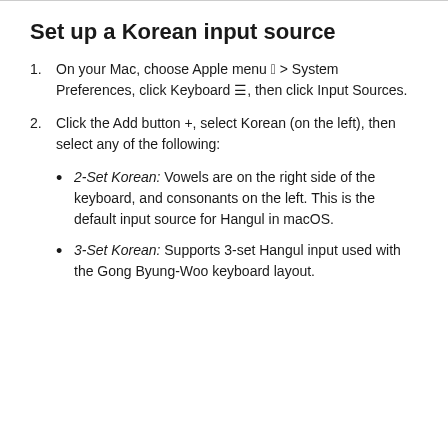Set up a Korean input source
On your Mac, choose Apple menu  > System Preferences, click Keyboard ☰, then click Input Sources.
Click the Add button +, select Korean (on the left), then select any of the following:
2-Set Korean: Vowels are on the right side of the keyboard, and consonants on the left. This is the default input source for Hangul in macOS.
3-Set Korean: Supports 3-set Hangul input used with the Gong Byung-Woo keyboard layout.